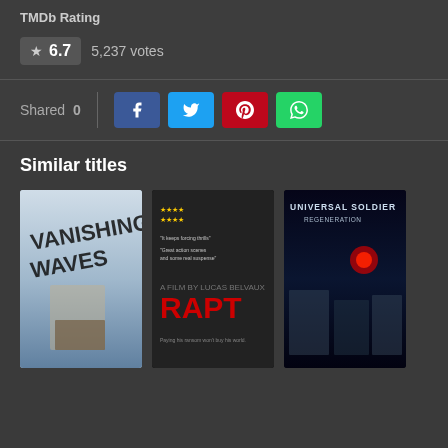TMDb Rating
6.7  5,237 votes
Shared  0
Similar titles
[Figure (photo): Movie poster for Vanishing Waves]
[Figure (photo): Movie poster for RAPT]
[Figure (photo): Movie poster for Universal Soldier: Regeneration]